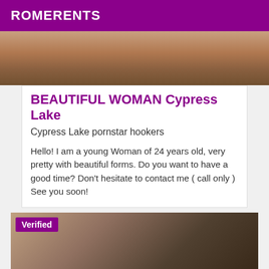ROMERENTS
[Figure (photo): Partial photo of a person, cropped view showing skin tones and light background]
BEAUTIFUL WOMAN Cypress Lake
Cypress Lake pornstar hookers
Hello! I am a young Woman of 24 years old, very pretty with beautiful forms. Do you want to have a good time? Don't hesitate to contact me ( call only ) See you soon!
[Figure (photo): Photo of a person wearing dark clothing, close-up view with dark tones. Has a 'Verified' badge overlay in the top-left corner.]